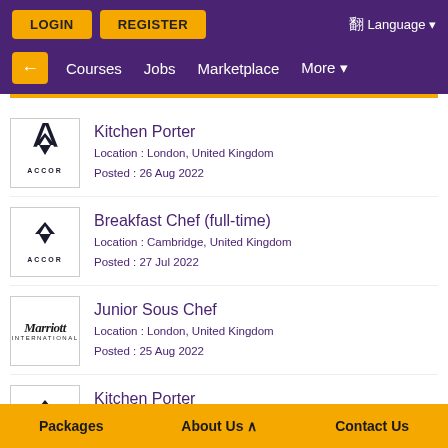LOGIN | REGISTER | Language
← Courses Jobs Marketplace More
Kitchen Porter
Location : London, United Kingdom
Posted : 26 Aug 2022
Breakfast Chef (full-time)
Location : Cambridge, United Kingdom
Posted : 27 Jul 2022
Junior Sous Chef
Location : London, United Kingdom
Posted : 25 Aug 2022
Kitchen Porter
Location : London, United Kingdom
Posted : 19 Aug 2022
Packages   About Us ^   Contact Us